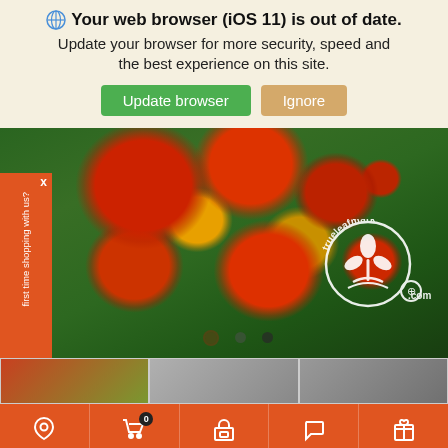🌐 Your web browser (iOS 11) is out of date. Update your browser for more security, speed and the best experience on this site.
Update browser
Ignore
[Figure (photo): Close-up photo of colorful cherry tomatoes (red, orange, yellow-green) on the vine surrounded by green leaves, with a True Leaf Market watermark logo in the bottom right]
first time shopping with us?
My Catalog   Cart 0   Shop   Chat   Rewards